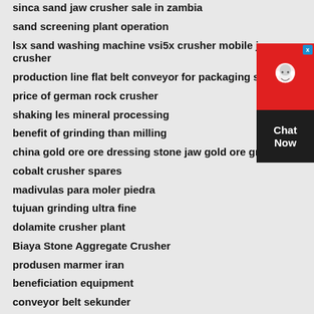sinca sand jaw crusher sale in zambia
sand screening plant operation
lsx sand washing machine vsi5x crusher mobile jaw crusher
production line flat belt conveyor for packaging system
price of german rock crusher
shaking les mineral processing
benefit of grinding than milling
china gold ore ore dressing stone jaw gold ore grinder
cobalt crusher spares
madivulas para moler piedra
tujuan grinding ultra fine
dolamite crusher plant
Biaya Stone Aggregate Crusher
produsen marmer iran
beneficiation equipment
conveyor belt sekunder
iron ore mining galliard
[Figure (other): Chat Now widget with red background, headset icon, and dark bottom panel showing 'Chat Now' text]